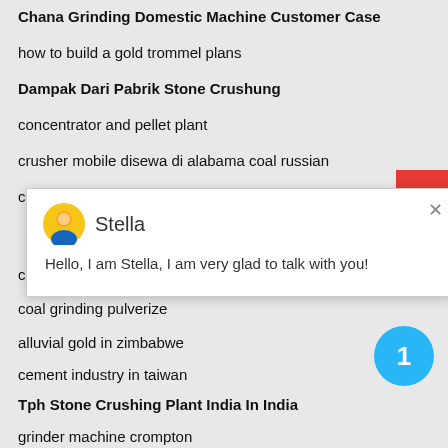Chana Grinding Domestic Machine Customer Case
how to build a gold trommel plans
Dampak Dari Pabrik Stone Crushung
concentrator and pellet plant
crusher mobile disewa di alabama coal russian
crusher batubara kegagalan dan mainteancen
[Figure (screenshot): Chat popup with avatar of Stella saying: Hello, I am Stella, I am very glad to talk with you!]
crusher cap 500 ton hours with outsize
coal grinding pulverize
alluvial gold in zimbabwe
cement industry in taiwan
Tph Stone Crushing Plant India In India
grinder machine crompton
production engineering objective questions pdf